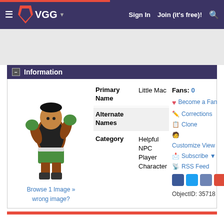VGG — Sign In  Join (it's free)!
[Figure (screenshot): VGG website navigation bar with hamburger menu, orange flame logo, VGG text, Sign In and Join links, and search icon]
[Figure (photo): Little Mac character from Super Smash Bros — boxer in green shorts and gloves in fighting stance]
Browse 1 Image »
wrong image?
Information
| Field | Value |
| --- | --- |
| Primary Name | Little Mac |
| Alternate Names |  |
| Category | Helpful NPC
Player Character |
Fans: 0
❤ Become a Fan
✏ Corrections
☐ Clone
🧍 Customize View
📨 Subscribe ▼
📡 RSS Feed
ObjectID: 35718